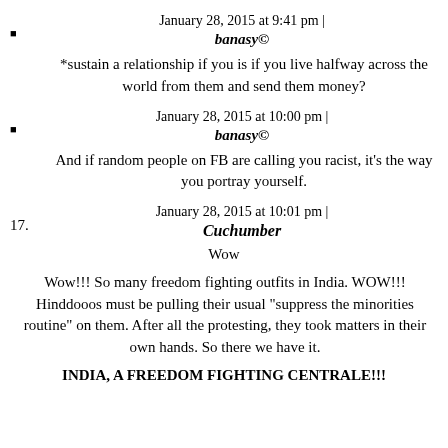January 28, 2015 at 9:41 pm | banasy©
*sustain a relationship if you is if you live halfway across the world from them and send them money?
January 28, 2015 at 10:00 pm | banasy©
And if random people on FB are calling you racist, it's the way you portray yourself.
17. January 28, 2015 at 10:01 pm | Cuchumber
Wow
Wow!!! So many freedom fighting outfits in India. WOW!!! Hinddooos must be pulling their usual "suppress the minorities routine" on them. After all the protesting, they took matters in their own hands. So there we have it.
INDIA, A FREEDOM FIGHTING CENTRALE!!!